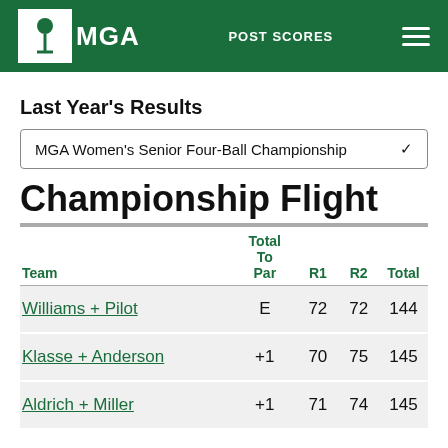MGA POST SCORES
Last Year's Results
MGA Women's Senior Four-Ball Championship
Championship Flight
| Team | Total To Par | R1 | R2 | Total |
| --- | --- | --- | --- | --- |
| Williams + Pilot | E | 72 | 72 | 144 |
| Klasse + Anderson | +1 | 70 | 75 | 145 |
| Aldrich + Miller | +1 | 71 | 74 | 145 |